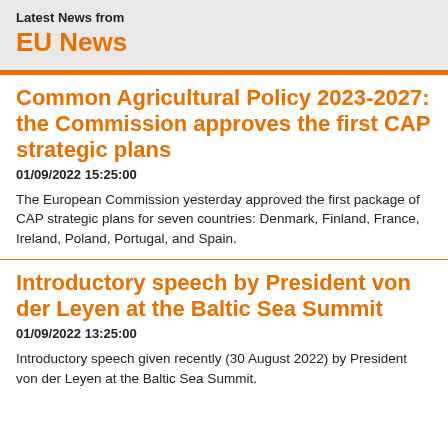Latest News from
EU News
Common Agricultural Policy 2023-2027: the Commission approves the first CAP strategic plans
01/09/2022 15:25:00
The European Commission yesterday approved the first package of CAP strategic plans for seven countries: Denmark, Finland, France, Ireland, Poland, Portugal, and Spain.
Introductory speech by President von der Leyen at the Baltic Sea Summit
01/09/2022 13:25:00
Introductory speech given recently (30 August 2022) by President von der Leyen at the Baltic Sea Summit.